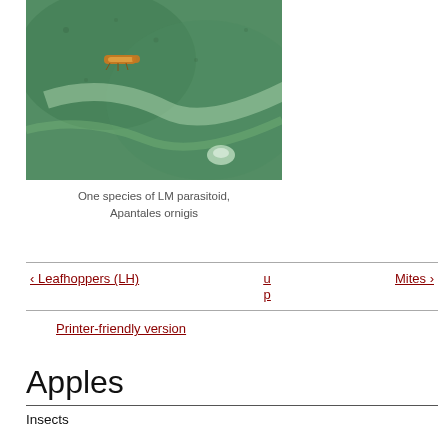[Figure (photo): Close-up macro photograph of a small yellow-orange insect (LM parasitoid, Apantales ornigis) on a green leaf surface]
One species of LM parasitoid, Apantales ornigis
‹ Leafhoppers (LH)    u p    Mites ›
Printer-friendly version
Apples
Insects